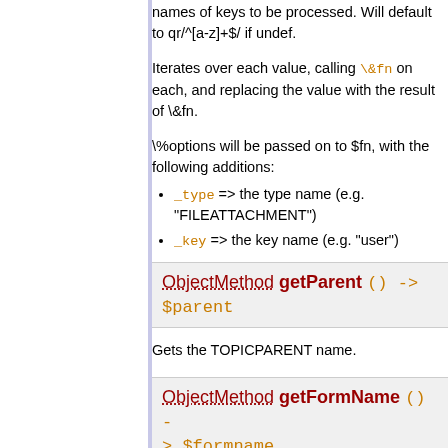names of keys to be processed. Will default to qr/^[a-z]+$/ if undef.
Iterates over each value, calling \&fn on each, and replacing the value with the result of \&fn.
\%options will be passed on to $fn, with the following additions:
_type => the type name (e.g. "FILEATTACHMENT")
_key => the key name (e.g. "user")
ObjectMethod getParent () -> $parent
Gets the TOPICPARENT name.
ObjectMethod getFormName () -> $formname
Returns the name of the FORM, or '' if none.